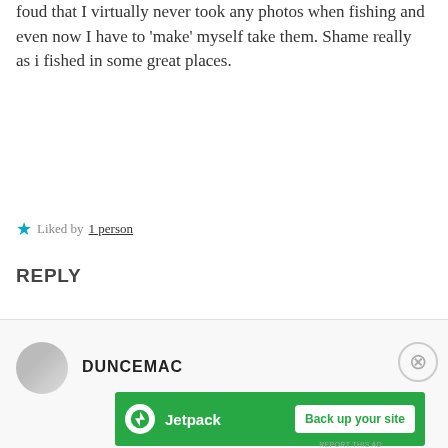foud that I virtually never took any photos when fishing and even now I have to ‘make’ myself take them. Shame really as i fished in some great places.
★ Liked by 1 person
REPLY
[Figure (other): WordPress.com advertisement banner: gradient purple-pink background with text 'Simplified pricing for everything you need.' and WordPress.com logo]
[Figure (other): Jetpack advertisement banner: green background with Jetpack logo and 'Back up your site' button]
DUNCEMAC